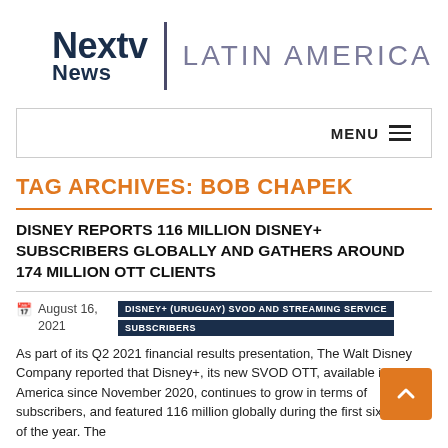[Figure (logo): Nextv News | LATIN AMERICA logo with dark navy text and grey divider]
MENU ☰
TAG ARCHIVES: BOB CHAPEK
DISNEY REPORTS 116 MILLION DISNEY+ SUBSCRIBERS GLOBALLY AND GATHERS AROUND 174 MILLION OTT CLIENTS
August 16, 2021
DISNEY+ (URUGUAY) SVOD AND STREAMING SERVICE
SUBSCRIBERS
As part of its Q2 2021 financial results presentation, The Walt Disney Company reported that Disney+, its new SVOD OTT, available in Latin America since November 2020, continues to grow in terms of subscribers, and featured 116 million globally during the first six months of the year. The